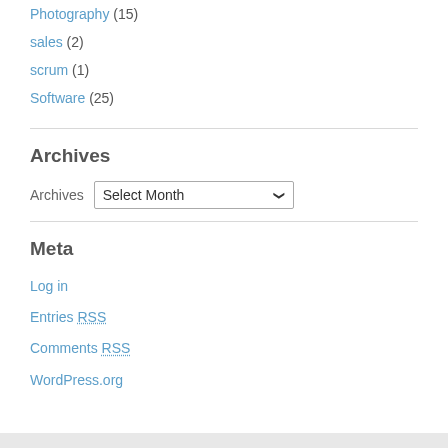Photography (15)
sales (2)
scrum (1)
Software (25)
Archives
Archives  Select Month
Meta
Log in
Entries RSS
Comments RSS
WordPress.org
View Full Site
Proudly powered by WordPress